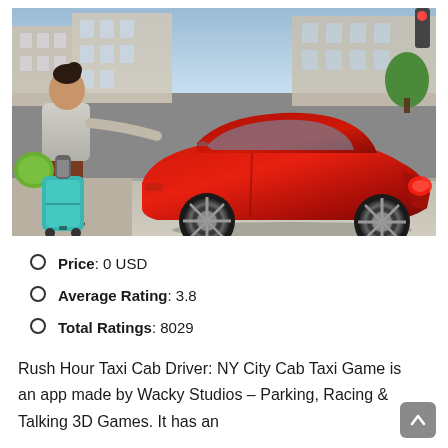[Figure (screenshot): Game screenshot showing a woman with luggage standing next to a red sports car (Chevrolet Camaro style) on a city street with European-style buildings in the background.]
Price: 0 USD
Average Rating: 3.8
Total Ratings: 8029
Rush Hour Taxi Cab Driver: NY City Cab Taxi Game is an app made by Wacky Studios – Parking, Racing & Talking 3D Games. It has an